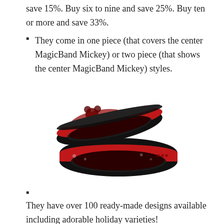save 15%. Buy six to nine and save 25%. Buy ten or more and save 33%.
They come in one piece (that covers the center MagicBand Mickey) or two piece (that shows the center MagicBand Mickey) styles.
[Figure (photo): Two red Christmas-themed Disney MagicBand wristbands stacked on each other, featuring snowflake patterns and Mickey Mouse imagery on a red background with black edges.]
They have over 100 ready-made designs available including adorable holiday varieties!